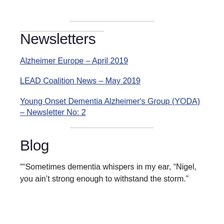Newsletters
Alzheimer Europe – April 2019
LEAD Coalition News – May 2019
Young Onset Dementia Alzheimer's Group (YODA) – Newsletter No: 2
Blog
““Sometimes dementia whispers in my ear, “Nigel, you ain’t strong enough to withstand the storm.”